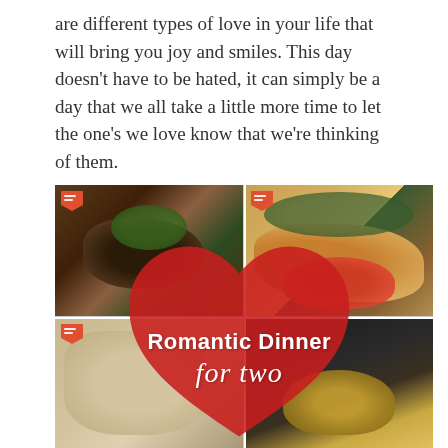are different types of love in your life that will bring you joy and smiles. This day doesn't have to be hated, it can simply be a day that we all take a little more time to let the one's we love know that we're thinking of them.
[Figure (photo): Four-photo collage of romantic dinner dishes with a red heart overlay reading 'Romantic Dinner for two'. Top-left: grilled meat with herbs. Top-right: fried appetizers with greens and tomatoes. Bottom-left: breaded items. Bottom-right: dark drink or sauce in a glass.]